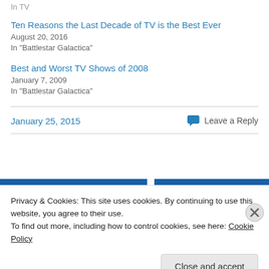In  TV
Ten Reasons the Last Decade of TV is the Best Ever
August 20, 2016
In "Battlestar Galactica"
Best and Worst TV Shows of 2008
January 7, 2009
In "Battlestar Galactica"
January 25, 2015   Leave a Reply
Privacy & Cookies: This site uses cookies. By continuing to use this website, you agree to their use.
To find out more, including how to control cookies, see here: Cookie Policy
Close and accept